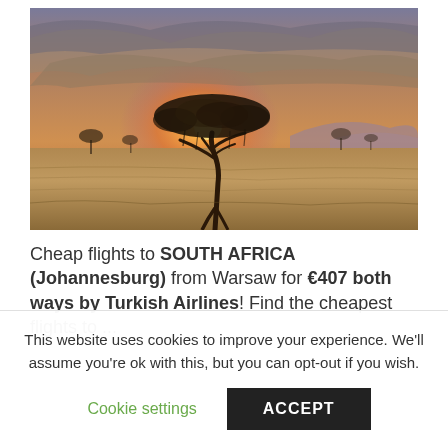[Figure (photo): African savanna landscape at sunset with a large acacia tree silhouetted against an orange and pink sky, flat grassland and distant hills in the background.]
Cheap flights to SOUTH AFRICA (Johannesburg) from Warsaw for €407 both ways by Turkish Airlines! Find the cheapest flights to ...
This website uses cookies to improve your experience. We'll assume you're ok with this, but you can opt-out if you wish.
Cookie settings   ACCEPT